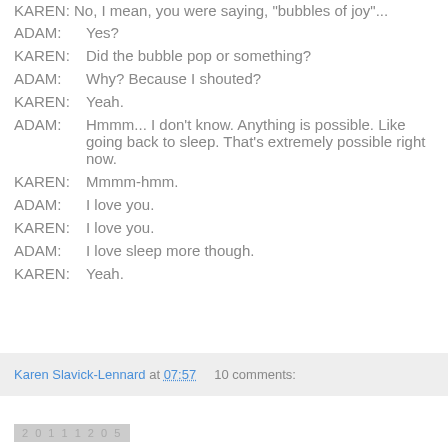KAREN: No, I mean, you were saying, "bubbles of joy"...
ADAM:    Yes?
KAREN:  Did the bubble pop or something?
ADAM:    Why? Because I shouted?
KAREN:  Yeah.
ADAM:    Hmmm... I don't know. Anything is possible. Like going back to sleep. That's extremely possible right now.
KAREN:  Mmmm-hmm.
ADAM:    I love you.
KAREN:  I love you.
ADAM:    I love sleep more though.
KAREN:  Yeah.
Karen Slavick-Lennard at 07:57    10 comments:
20111205